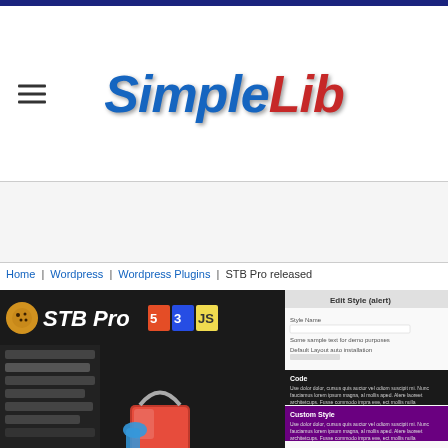[Figure (logo): SimpleLib logo with 'Simple' in blue bold italic and 'Lib' in red bold italic, with hamburger menu icon on the left]
Home | Wordpress | Wordpress Plugins | STB Pro released
[Figure (screenshot): Screenshot of STB Pro WordPress plugin showing a dark admin interface with 'STB Pro' title with HTML5, CSS3, JS icons, a paint bucket graphic, and settings panels for Edit Style (alert) on the right side with code and custom style sections]